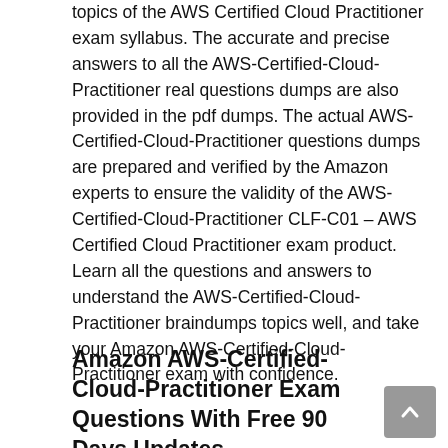topics of the AWS Certified Cloud Practitioner exam syllabus. The accurate and precise answers to all the AWS-Certified-Cloud-Practitioner real questions dumps are also provided in the pdf dumps. The actual AWS-Certified-Cloud-Practitioner questions dumps are prepared and verified by the Amazon experts to ensure the validity of the AWS-Certified-Cloud-Practitioner CLF-C01 – AWS Certified Cloud Practitioner exam product. Learn all the questions and answers to understand the AWS-Certified-Cloud-Practitioner braindumps topics well, and take your Amazon AWS-Certified-Cloud-Practitioner exam with confidence.
Amazon AWS-Certified-Cloud-Practitioner Exam Questions With Free 90 Days Updates